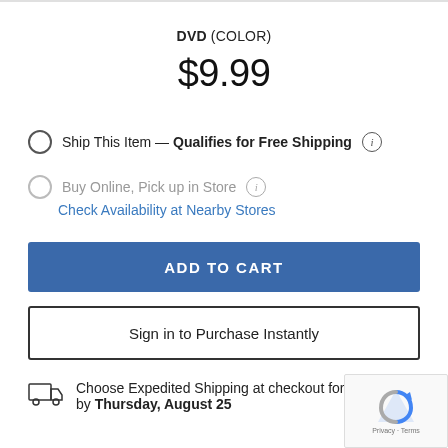DVD (COLOR)
$9.99
Ship This Item — Qualifies for Free Shipping (i)
Buy Online, Pick up in Store (i)
Check Availability at Nearby Stores
ADD TO CART
Sign in to Purchase Instantly
Choose Expedited Shipping at checkout for delivery by Thursday, August 25